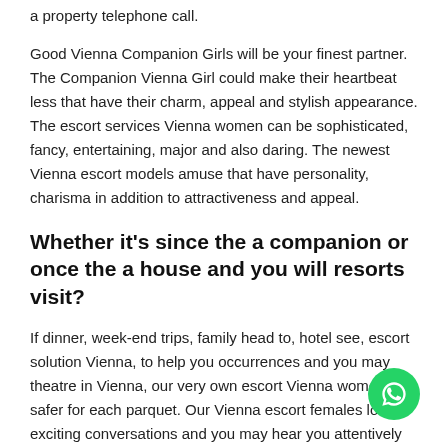a property telephone call.
Good Vienna Companion Girls will be your finest partner. The Companion Vienna Girl could make their heartbeat less that have their charm, appeal and stylish appearance. The escort services Vienna women can be sophisticated, fancy, entertaining, major and also daring. The newest Vienna escort models amuse that have personality, charisma in addition to attractiveness and appeal.
Whether it's since the a companion or once the a house and you will resorts visit?
If dinner, week-end trips, family head to, hotel see, escort solution Vienna, to help you occurrences and you may theatre in Vienna, our very own escort Vienna women are safer for each parquet. Our Vienna escort females love exciting conversations and you may hear you attentively and curious through the property telephone call or resorts go to in Vienna. You can